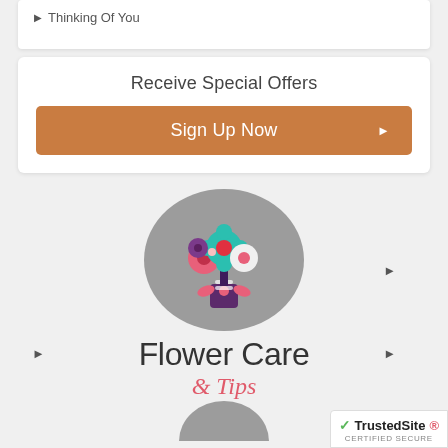Thinking Of You
Receive Special Offers
Sign Up Now
[Figure (illustration): Flat design floral bouquet icon on a gray circular background, showing teal, pink, white and purple flowers with a purple vase and pink bow, alongside text 'Flower Care & Tips']
[Figure (logo): TrustedSite CERTIFIED SECURE badge with green checkmark]